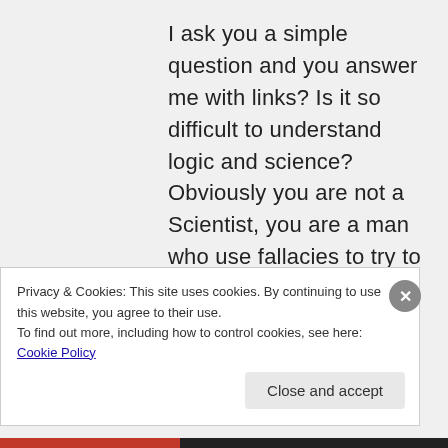I ask you a simple question and you answer me with links? Is it so difficult to understand logic and science? Obviously you are not a Scientist, you are a man who use fallacies to try to misinform and disinform your readers! Saying that a genetically modified
Privacy & Cookies: This site uses cookies. By continuing to use this website, you agree to their use.
To find out more, including how to control cookies, see here: Cookie Policy
Close and accept